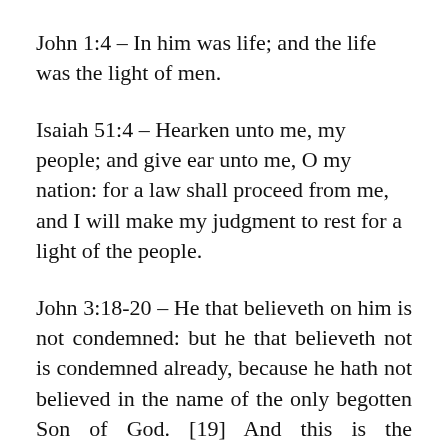John 1:4 – In him was life; and the life was the light of men.
Isaiah 51:4 – Hearken unto me, my people; and give ear unto me, O my nation: for a law shall proceed from me, and I will make my judgment to rest for a light of the people.
John 3:18-20 – He that believeth on him is not condemned: but he that believeth not is condemned already, because he hath not believed in the name of the only begotten Son of God. [19] And this is the condemnation, that light is come into the world, and men loved darkness rather than light, because their deeds were evil. [20] For every one that doeth evil